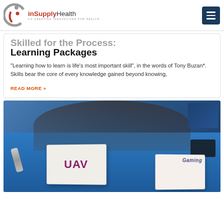inSupplyHealth - CO-CREATING INNOVATIONS FOR HEALTH
Skilled for the Process: Learning Packages
"Learning how to learn is life's most important skill", in the words of Tony Buzan*. Skills bear the core of every knowledge gained beyond knowing,
READ MORE »
[Figure (photo): Close-up photo of a blue table with learning materials including cards labeled 'UAV' and 'Gaming', markers, a glue stick, and a cup, with a person blurred in the background]